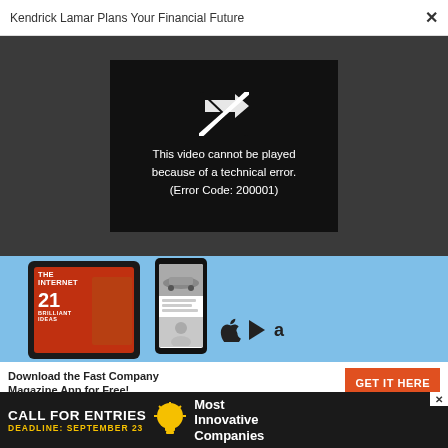Kendrick Lamar Plans Your Financial Future  ×
[Figure (screenshot): Video player error screen on dark background. Black video box with broken video icon and text: This video cannot be played because of a technical error. (Error Code: 200001)]
[Figure (screenshot): Advertisement for Fast Company Magazine App showing tablet with magazine cover (THE INTERNET) and smartphone, with Apple, Google Play, and Amazon store icons. Bottom bar: 'Download the Fast Company Magazine App for Free!' with orange 'GET IT HERE' button.]
[Figure (screenshot): Bottom banner advertisement: 'CALL FOR ENTRIES DEADLINE: SEPTEMBER 23' with lightbulb icon and 'Most Innovative Companies' text on dark background.]